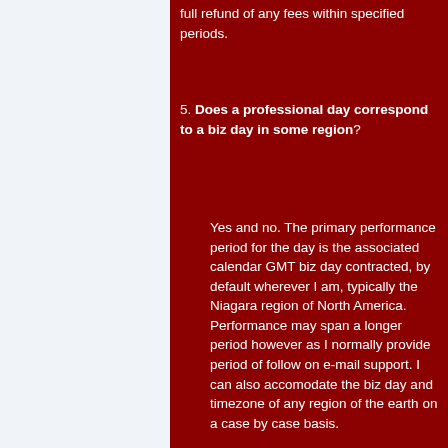full refund of any fees within specified periods.
5. Does a professional day correspond to a biz day in some region?
Yes and no. The primary performance period for the day is the associated calendar GMT biz day contracted, by default wherever I am, typically the Niagara region of North America. Performance may span a longer period however as I normally provide period of follow on e-mail support. I can also accomodate the biz day and timezone of any region of the earth on a case by case basis.